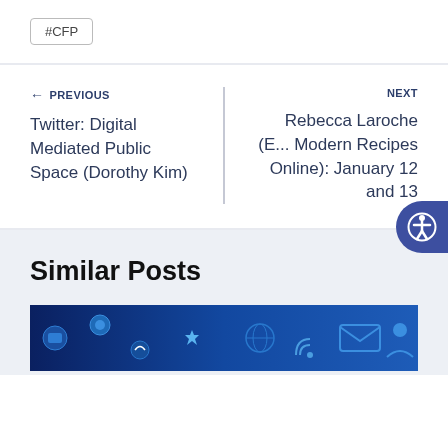#CFP
← PREVIOUS
Twitter: Digital Mediated Public Space (Dorothy Kim)
NEXT →
Rebecca Laroche (E... Modern Recipes Online): January 12 and 13
Similar Posts
[Figure (photo): Technology/social media themed image with blue icons and symbols on dark blue background]